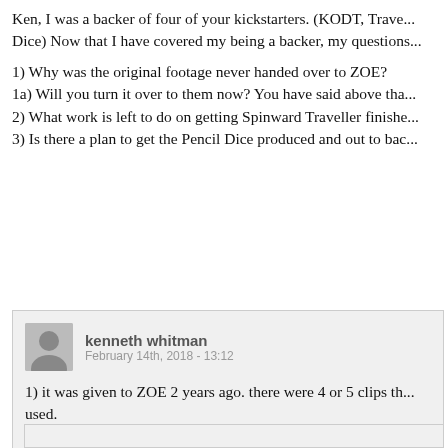Ken, I was a backer of four of your kickstarters. (KODT, Trave... Dice) Now that I have covered my being a backer, my questions...
1) Why was the original footage never handed over to ZOE?
1a) Will you turn it over to them now? You have said above tha...
2) What work is left to do on getting Spinward Traveller finishe...
3) Is there a plan to get the Pencil Dice produced and out to bac...
kenneth whitman
February 14th, 2018 - 13:12
1) it was given to ZOE 2 years ago. there were 4 or 5 clips th... used.
2) see above
3) i am working with Marc to release the green screen edition... determined for the final.
4) with the sucess of my store i have been able to afford two... them myself. I have placed an order from the machines comi...